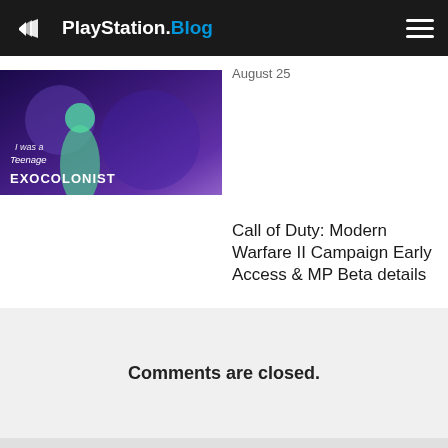PlayStation.Blog
August 25
[Figure (screenshot): I was a Teenage Exocolonist game banner/cover art with stylized purple sci-fi background]
Call of Duty: Modern Warfare II Campaign Early Access & MP Beta details
Comments are closed.